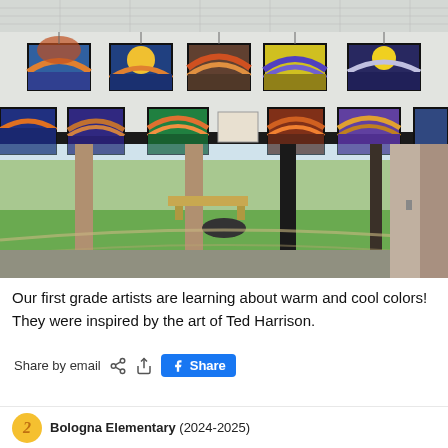[Figure (photo): School hallway with student artwork (colorful warm/cool color paintings with rainbows and waves) hung in two rows from the ceiling and a lower display rail, with a large window overlooking a green courtyard in the background.]
Our first grade artists are learning about warm and cool colors! They were inspired by the art of Ted Harrison.
Share by email  Share
Bologna Elementary (2024-2025)